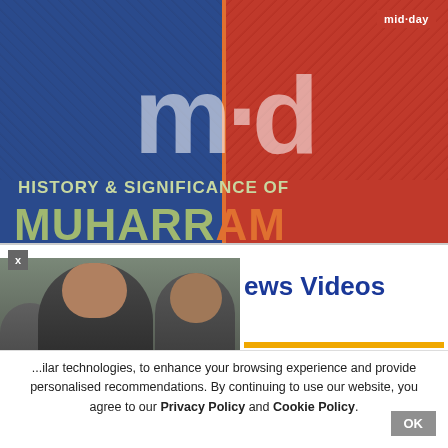[Figure (screenshot): Mid-day news website banner showing 'History & Significance of Muharram' with split blue and red background, large 'm·d' letters watermark, mid-day logo top right]
[Figure (photo): Photo of a woman in black clothing in foreground with several men behind her]
News Videos
...ilar technologies, to enhance your browsing experience and provide personalised recommendations. By continuing to use our website, you agree to our Privacy Policy and Cookie Policy.